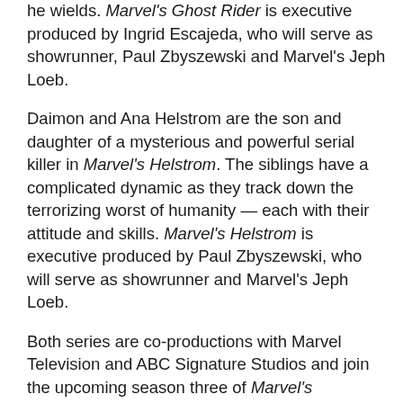Robbie brings vengeance for the innocents he encounters, but struggles to control the power he wields. Marvel's Ghost Rider is executive produced by Ingrid Escajeda, who will serve as showrunner, Paul Zbyszewski and Marvel's Jeph Loeb.
Daimon and Ana Helstrom are the son and daughter of a mysterious and powerful serial killer in Marvel's Helstrom. The siblings have a complicated dynamic as they track down the terrorizing worst of humanity — each with their attitude and skills. Marvel's Helstrom is executive produced by Paul Zbyszewski, who will serve as showrunner and Marvel's Jeph Loeb.
Both series are co-productions with Marvel Television and ABC Signature Studios and join the upcoming season three of Marvel's Runaways and recently announced adult animated series based on the popular Marvel Television characters including Marvel's M.O.D.O.K, Marvel's Hit-Monkey, Marvel's Tigra & Dazzler Show and Marvel's Howard The Duck, which will culminate in a special event,